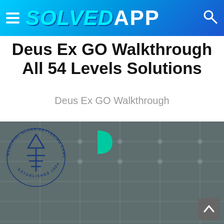SOLVEDAPP
Deus Ex GO Walkthrough All 54 Levels Solutions
Deus Ex GO Walkthrough
[Figure (screenshot): Deus Ex GO game screenshot with Memorial Sloan-Kettering Cancer Center logo overlay on a dark grey game grid background with a teal D-shaped element visible]